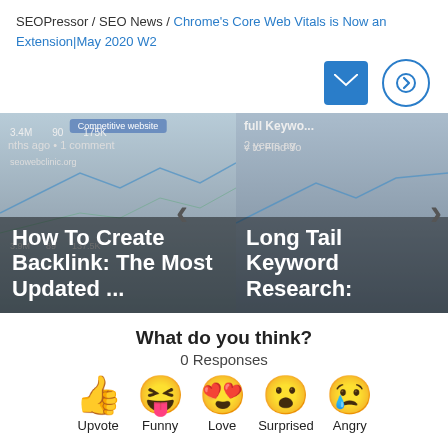SEOPressor / SEO News / Chrome's Core Web Vitals is Now an Extension|May 2020 W2
[Figure (screenshot): Slider with two article cards: 'How To Create Backlink: The Most Updated ...' and 'Long Tail Keyword Research:' with navigation arrows and graph backgrounds]
What do you think?
0 Responses
[Figure (infographic): Emoji reaction row with Upvote (thumbs up), Funny (laughing face), Love (heart eyes), Surprised (open mouth), Angry (sad/angry face) labels]